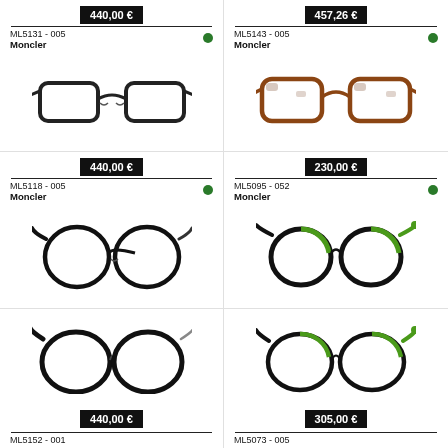[Figure (photo): Black rectangular eyeglasses frame ML5131-005 by Moncler, price 440,00 €]
[Figure (photo): Brown tortoiseshell rectangular eyeglasses frame ML5143-005 by Moncler, price 457,26 €]
[Figure (photo): Black round eyeglasses frame ML5118-005 by Moncler, price 440,00 €]
[Figure (photo): Black and green round eyeglasses frame ML5095-052 by Moncler, price 230,00 €]
[Figure (photo): Black round eyeglasses frame ML5152-001 by Moncler, price 440,00 €]
[Figure (photo): Black and green round eyeglasses frame ML5073-005 by Moncler, price 305,00 €]